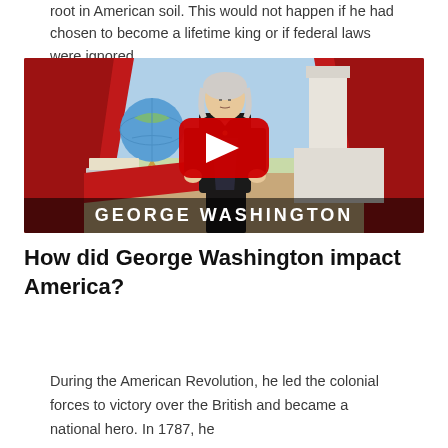root in American soil. This would not happen if he had chosen to become a lifetime king or if federal laws were ignored.
[Figure (screenshot): YouTube video thumbnail showing an animated George Washington in colonial attire standing in front of red curtains with a globe, white column, and text 'GEORGE WASHINGTON' at the bottom. A red YouTube play button is centered on the image.]
How did George Washington impact America?
During the American Revolution, he led the colonial forces to victory over the British and became a national hero. In 1787, he